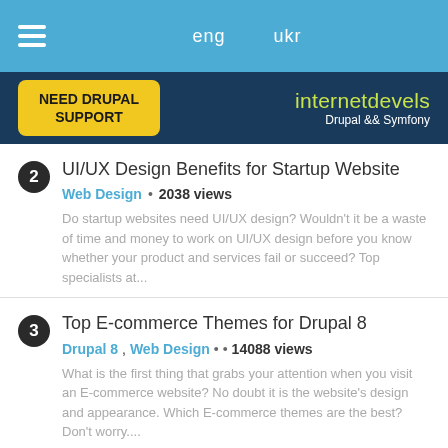eng  ukr
[Figure (screenshot): Navigation bar with hamburger menu, eng/ukr language links, Need Drupal Support button, and internetdevels Drupal && Symfony brand logo]
2 UI/UX Design Benefits for Startup Website — Web Design • 2038 views — Do startup websites need UI/UX design? Wouldn't it be a waste of time and money to work on UI/UX design before you know whether your product and services fail or succeed? Top specialists at...
3 Top E-commerce Themes for Drupal 8 — Drupal 8, Web Design • 14088 views — What is the first thing that grabs your attention when you visit an E-commerce website? No doubt it is the website's design and appearance. Which E-commerce themes are the best? Don't worry....
4 B2B website design trends — Web Design • 2979 views — We bet you've heard a lot about B2B web design and